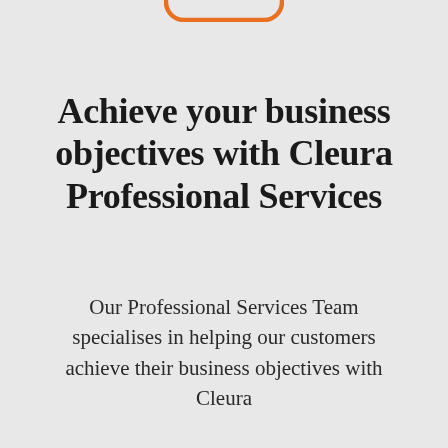[Figure (illustration): Partial orange rounded rectangle shape visible at top center of page, cropped at the top edge]
Achieve your business objectives with Cleura Professional Services
Our Professional Services Team specialises in helping our customers achieve their business objectives with Cleura